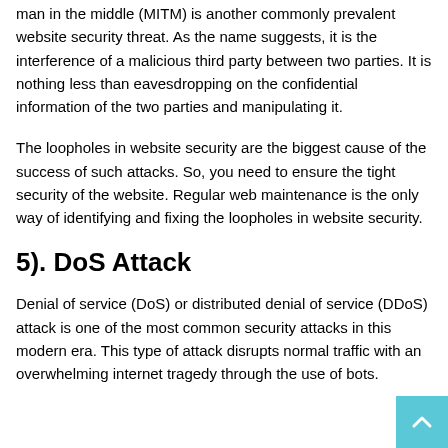man in the middle (MITM) is another commonly prevalent website security threat. As the name suggests, it is the interference of a malicious third party between two parties. It is nothing less than eavesdropping on the confidential information of the two parties and manipulating it.
The loopholes in website security are the biggest cause of the success of such attacks. So, you need to ensure the tight security of the website. Regular web maintenance is the only way of identifying and fixing the loopholes in website security.
5). DoS Attack
Denial of service (DoS) or distributed denial of service (DDoS) attack is one of the most common security attacks in this modern era. This type of attack disrupts normal traffic with an overwhelming internet tragedy through the use of bots.